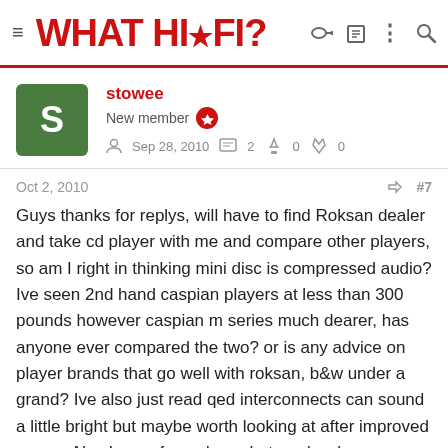WHAT HI·FI?
stowee
New member
Sep 28, 2010  2  0  0
Oct 2, 2010  #7
Guys thanks for replys, will have to find Roksan dealer and take cd player with me and compare other players, so am I right in thinking mini disc is compressed audio? Ive seen 2nd hand caspian players at less than 300 pounds however caspian m series much dearer, has anyone ever compared the two? or is any advice on player brands that go well with roksan, b&w under a grand? Ive also just read qed interconnects can sound a little bright but maybe worth looking at after improved source Also Im confussed as what are lossless sources, is this possiable with caspian analouge amps? cheers